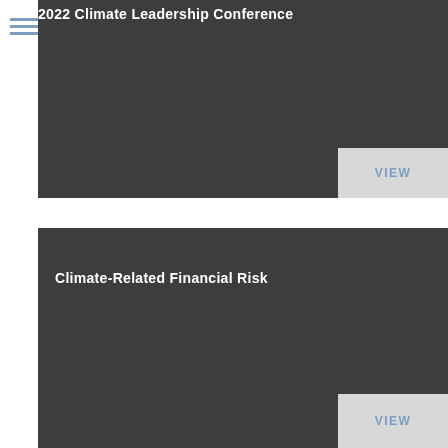[Figure (screenshot): Hamburger menu icon with three horizontal lines in steel blue color]
2022 Climate Leadership Conference
[Figure (screenshot): Dark grey card panel with VIEW button in light grey at bottom right]
Climate-Related Financial Risk
[Figure (screenshot): Dark grey card panel with VIEW button in light grey at bottom right]